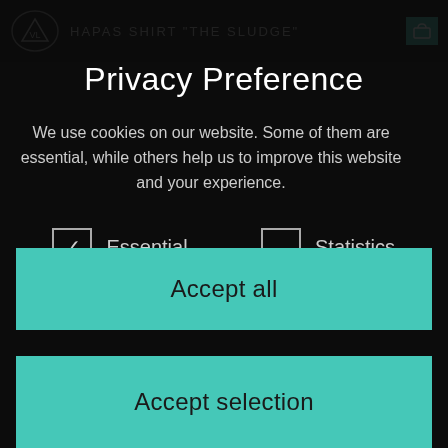HAPAS SHIRT "THE SLUDGE"
Privacy Preference
We use cookies on our website. Some of them are essential, while others help us to improve this website and your experience.
Essential (checked)
Statistics (unchecked)
Accept all
Accept selection